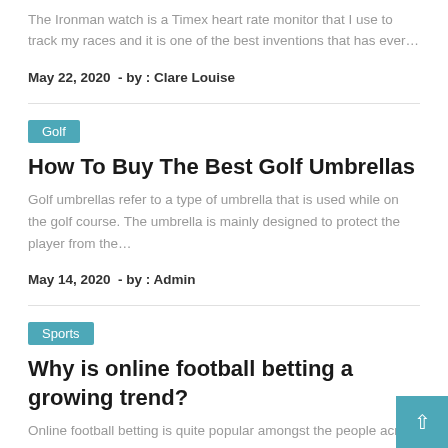The Ironman watch is a Timex heart rate monitor that I use to track my races and it is one of the best inventions that has ever…
May 22, 2020  - by : Clare Louise
Golf
How To Buy The Best Golf Umbrellas
Golf umbrellas refer to a type of umbrella that is used while on the golf course. The umbrella is mainly designed to protect the player from the…
May 14, 2020  - by : Admin
Sports
Why is online football betting a growing trend?
Online football betting is quite popular amongst the people across the world. The simple behind is the rise in number of smartphone